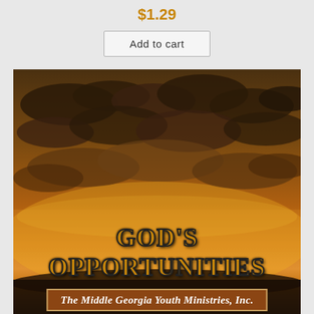$1.29
Add to cart
[Figure (illustration): Dramatic sunset sky with dark clouds and golden-orange light, overlaid with bold text reading "God's Opportunities" and subtitle "The Middle Georgia Youth Ministries, Inc."]